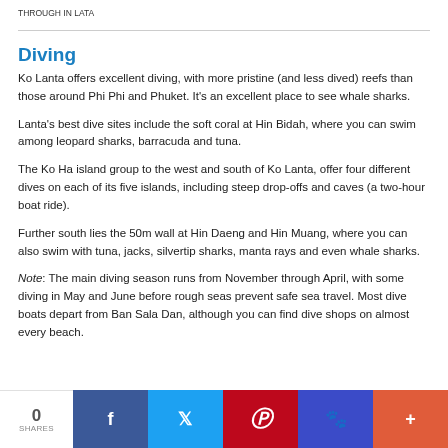THROUGH IN LATA
Diving
Ko Lanta offers excellent diving, with more pristine (and less dived) reefs than those around Phi Phi and Phuket. It's an excellent place to see whale sharks.
Lanta's best dive sites include the soft coral at Hin Bidah, where you can swim among leopard sharks, barracuda and tuna.
The Ko Ha island group to the west and south of Ko Lanta, offer four different dives on each of its five islands, including steep drop-offs and caves (a two-hour boat ride).
Further south lies the 50m wall at Hin Daeng and Hin Muang, where you can also swim with tuna, jacks, silvertip sharks, manta rays and even whale sharks.
Note: The main diving season runs from November through April, with some diving in May and June before rough seas prevent safe sea travel. Most dive boats depart from Ban Sala Dan, although you can find dive shops on almost every beach.
0 SHARES | Facebook | Twitter | Pinterest | Paw | Plus